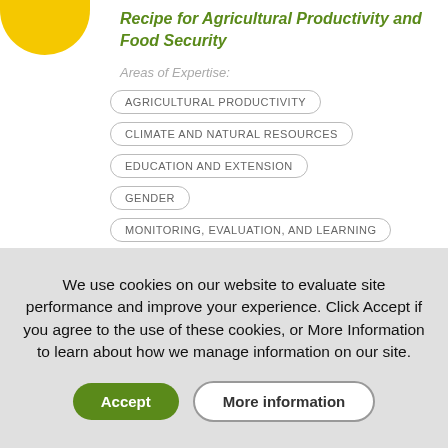[Figure (logo): Yellow half-circle logo at top left]
Recipe for Agricultural Productivity and Food Security
Areas of Expertise:
AGRICULTURAL PRODUCTIVITY
CLIMATE AND NATURAL RESOURCES
EDUCATION AND EXTENSION
GENDER
MONITORING, EVALUATION, AND LEARNING
We use cookies on our website to evaluate site performance and improve your experience. Click Accept if you agree to the use of these cookies, or More Information to learn about how we manage information on our site.
Accept
More information